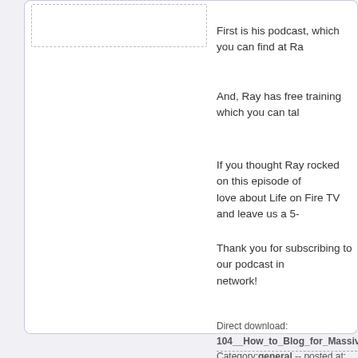First is his podcast, which you can find at Ra
And, Ray has free training which you can tal
If you thought Ray rocked on this episode of love about Life on Fire TV and leave us a 5-
Thank you for subscribing to our podcast in network!
Direct download: 104__How_to_Blog_for_Massive_ Category:general -- posted at: 6:25am PDT